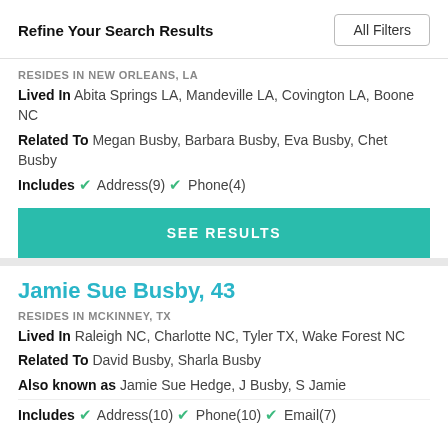Refine Your Search Results
RESIDES IN NEW ORLEANS, LA
Lived In Abita Springs LA, Mandeville LA, Covington LA, Boone NC
Related To Megan Busby, Barbara Busby, Eva Busby, Chet Busby
Includes ✔ Address(9) ✔ Phone(4)
SEE RESULTS
Jamie Sue Busby, 43
RESIDES IN MCKINNEY, TX
Lived In Raleigh NC, Charlotte NC, Tyler TX, Wake Forest NC
Related To David Busby, Sharla Busby
Also known as Jamie Sue Hedge, J Busby, S Jamie
Includes ✔ Address(10) ✔ Phone(10) ✔ Email(7)